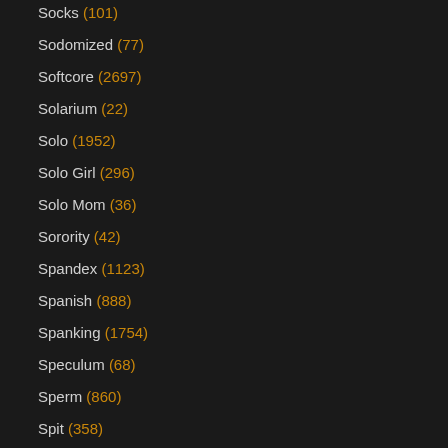Socks (101)
Sodomized (77)
Softcore (2697)
Solarium (22)
Solo (1952)
Solo Girl (296)
Solo Mom (36)
Sorority (42)
Spandex (1123)
Spanish (888)
Spanking (1754)
Speculum (68)
Sperm (860)
Spit (358)
Sport (485)
Spring Break (27)